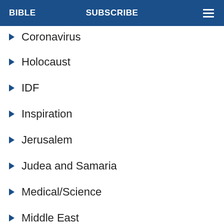BIBLE   SUBSCRIBE
Coronavirus
Holocaust
IDF
Inspiration
Jerusalem
Judea and Samaria
Medical/Science
Middle East
News Videos